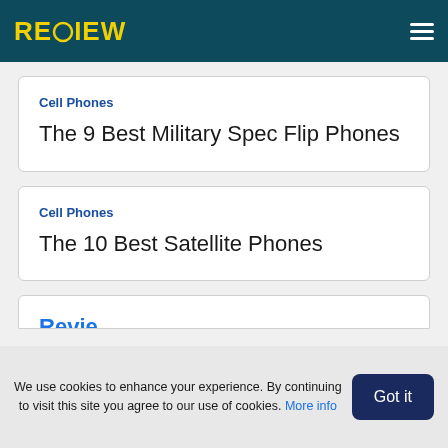RECIEW
Cell Phones
The 9 Best Military Spec Flip Phones
Cell Phones
The 10 Best Satellite Phones
We use cookies to enhance your experience. By continuing to visit this site you agree to our use of cookies. More info